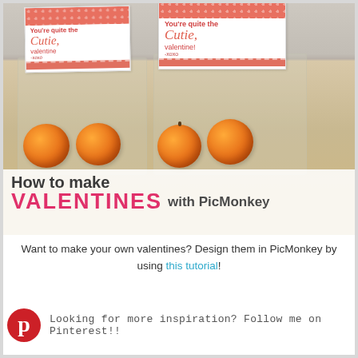[Figure (photo): Photo of two bags of clementine oranges with pink polka-dot valentine cards attached reading 'You're quite the Cutie, valentine! -xoxo', on a wooden surface. Overlay text reads 'How to make VALENTINES with PicMonkey'.]
Want to make your own valentines? Design them in PicMonkey by using this tutorial!
Looking for more inspiration? Follow me on Pinterest!!